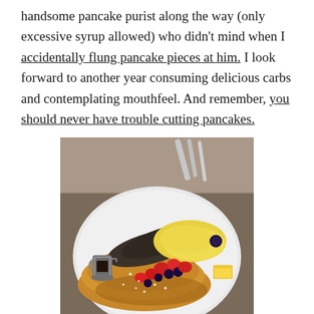handsome pancake purist along the way (only excessive syrup allowed) who didn't mind when I accidentally flung pancake pieces at him. I look forward to another year consuming delicious carbs and contemplating mouthfeel. And remember, you should never have trouble cutting pancakes.
[Figure (photo): A plate of pancakes topped with fresh strawberries and blueberries, a small metal syrup pitcher, scrambled eggs, dark bread or pancake slices, and a butter pat. A fork and knife are visible in the background on a granite counter.]